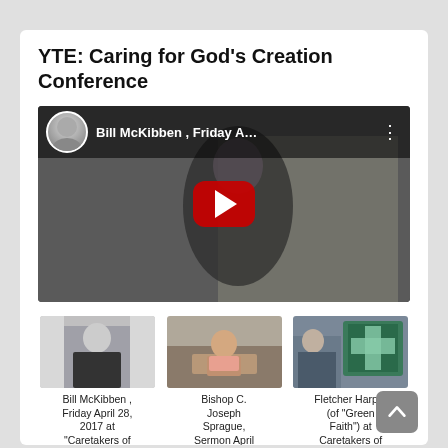YTE: Caring for God’s Creation Conference
[Figure (screenshot): YouTube video embed showing 'Bill McKibben , Friday A...' with YouTube play button overlay and channel avatar in top left]
[Figure (photo): Thumbnail of Bill McKibben standing in dark jacket]
Bill McKibben , Friday April 28, 2017 at "Caretakers of God's Creation" Conference
[Figure (photo): Thumbnail of Bishop C. Joseph Sprague seated at pulpit]
Bishop C. Joseph Sprague, Sermon April 28, 2017
[Figure (photo): Thumbnail of Fletcher Harper at Caretakers of God's Creation Conference, decorative altar cloth visible]
Fletcher Harper (of "Green Faith") at Caretakers of God's Creation Conference